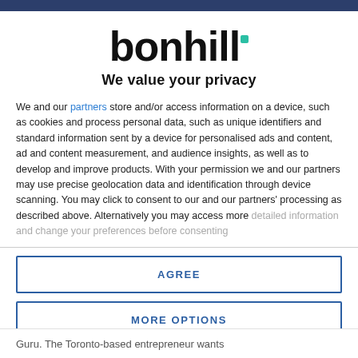[Figure (logo): Bonhill logo — bold black text 'bonhill' with a small teal square accent above the second 'l']
We value your privacy
We and our partners store and/or access information on a device, such as cookies and process personal data, such as unique identifiers and standard information sent by a device for personalised ads and content, ad and content measurement, and audience insights, as well as to develop and improve products. With your permission we and our partners may use precise geolocation data and identification through device scanning. You may click to consent to our and our partners' processing as described above. Alternatively you may access more detailed information and change your preferences before consenting
AGREE
MORE OPTIONS
Guru. The Toronto-based entrepreneur wants